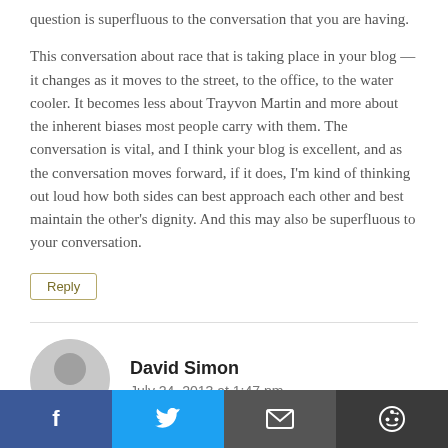question is superfluous to the conversation that you are having.
This conversation about race that is taking place in your blog — it changes as it moves to the street, to the office, to the water cooler. It becomes less about Trayvon Martin and more about the inherent biases most people carry with them. The conversation is vital, and I think your blog is excellent, and as the conversation moves forward, if it does, I'm kind of thinking out loud how both sides can best approach each other and best maintain the other's dignity. And this may also be superfluous to your conversation.
Reply
David Simon
July 24, 2013 at 1:47 pm